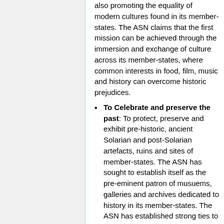also promoting the equality of modern cultures found in its member-states. The ASN claims that the first mission can be achieved through the immersion and exchange of culture across its member-states, where common interests in food, film, music and history can overcome historic prejudices.
To Celebrate and preserve the past: To protect, preserve and exhibit pre-historic, ancient Solarian and post-Solarian artefacts, ruins and sites of member-states. The ASN has sought to establish itself as the pre-eminent patron of musuems, galleries and archives dedicated to history in its member-states. The ASN has established strong ties to international law enforcement in